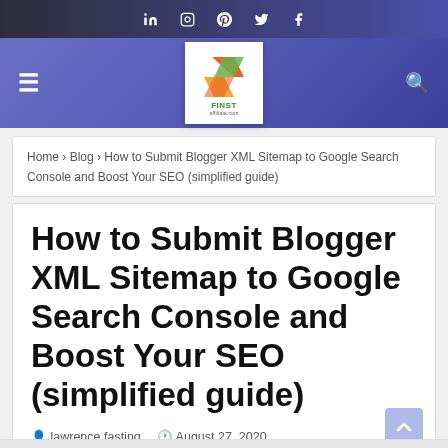Social media links: LinkedIn, Instagram, Pinterest, Twitter, Facebook
[Figure (logo): Finst website logo with colorful F icon and green text]
Home › Blog › How to Submit Blogger XML Sitemap to Google Search Console and Boost Your SEO (simplified guide)
How to Submit Blogger XML Sitemap to Google Search Console and Boost Your SEO (simplified guide)
lawrence fasting  August 27, 2020